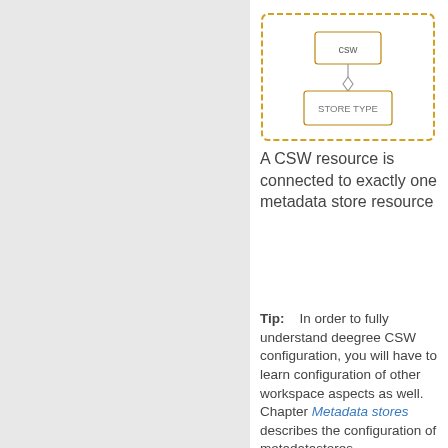[Figure (schematic): A diagram showing a CSW resource box connected to a metadata store resource. The outer box is outlined in orange/yellow. Inside is a smaller box labeled 'csw' and below it a connector line to a box labeled 'STORE TYPE'.]
A CSW resource is connected to exactly one metadata store resource
Tip:    In order to fully understand deegree CSW configuration, you will have to learn configuration of other workspace aspects as well. Chapter Metadata stores describes the configuration of metadatastores.